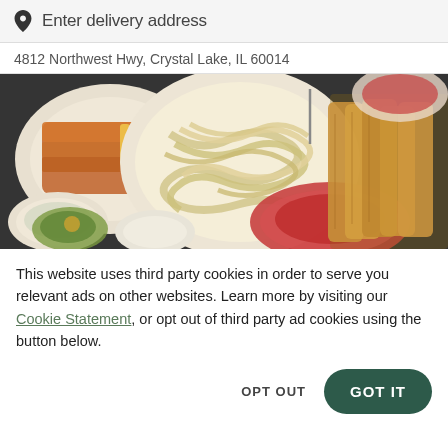Enter delivery address
4812 Northwest Hwy, Crystal Lake, IL 60014
[Figure (photo): Overhead view of Italian food dishes including pasta, breadsticks, salad, and tomato sauce on a dark tablecloth]
This website uses third party cookies in order to serve you relevant ads on other websites. Learn more by visiting our Cookie Statement, or opt out of third party ad cookies using the button below.
OPT OUT
GOT IT